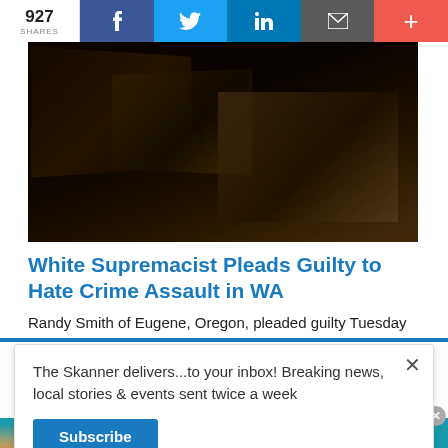927 SHARES | f | 🐦 | in | 📧 | +
[Figure (photo): Dark wood interior photo, likely courtroom or similar setting]
White Supremacist Pleads Guilty to Hate Crime Assault in WA
Randy Smith of Eugene, Oregon, pleaded guilty Tuesday
The Skanner delivers...to your inbox! Breaking news, local stories & events sent twice a week
Subscribe
[Figure (infographic): Constant Staffing advertisement in Spanish: ESTAMOS CONTRATANDO BILINGUES 713-714-8909, listing job types including trabajos en general, trabajadores de bodega, empacadores, conductores de montacargas, ventas al por menor, personal administrativo]